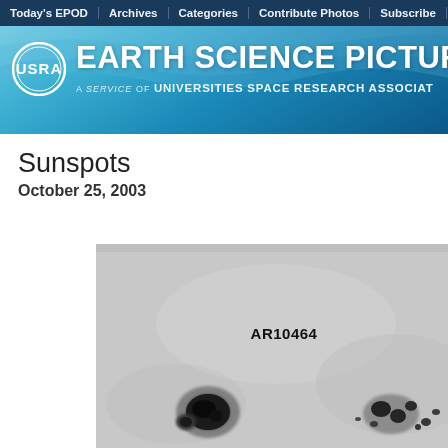Today's EPOD | Archives | Categories | Contribute Photos | Subscribe | About E
[Figure (other): USRA Earth Science Picture of the Day website header banner with USRA logo, title 'EARTH SCIENCE PICTUR' and subtitle 'A SERVICE OF UNIVERSITIES SPACE RESEARCH ASSOCIAT']
Sunspots
October 25, 2003
[Figure (photo): Grayscale solar photograph showing sunspot active region AR10464 labeled in bold text, with several dark sunspot clusters visible on the solar surface including a prominent group on the lower left and another cluster on the lower right.]